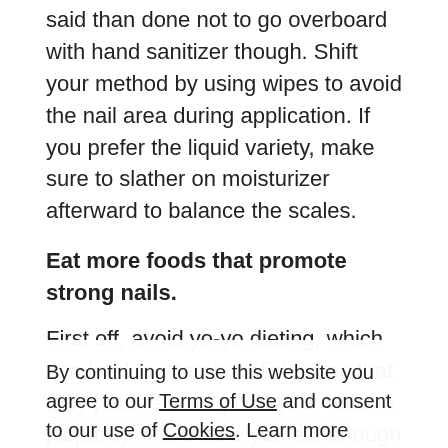said than done not to go overboard with hand sanitizer though. Shift your method by using wipes to avoid the nail area during application. If you prefer the liquid variety, make sure to slather on moisturizer afterward to balance the scales.
Eat more foods that promote strong nails.
First off, avoid yo-yo dieting, which can lead to vitamin deficiencies that may put the strength of your nails in jeopardy. Make sure you eat enough protein and calcium, too, which are thought to promote nail health. Loading up on biotin-rich foods, such as veggies, eggs, and nuts, may also help your nails grow to be healthy, strong, and less brittle.
By continuing to use this website you agree to our Terms of Use and consent to our use of Cookies. Learn more about our use of cookies by viewing our Privacy Policy.
ACCEPT
Place Apartments in Alpharetta, Georgia, we our need for an apartment living experience that keeps you in the loop with recipes, health hacks, and